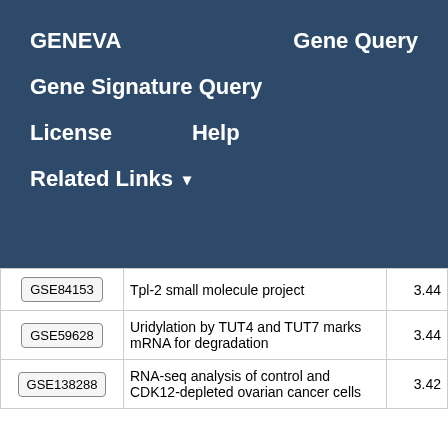GENEVA   Gene Query
Gene Signature Query
License   Help
Related Links ▾
| GSE ID | Description | Score |
| --- | --- | --- |
| GSE84153 | Tpl-2 small molecule project | 3.44 |
| GSE59628 | Uridylation by TUT4 and TUT7 marks mRNA for degradation | 3.44 |
| GSE138288 | RNA-seq analysis of control and CDK12-depleted ovarian cancer cells | 3.42 |